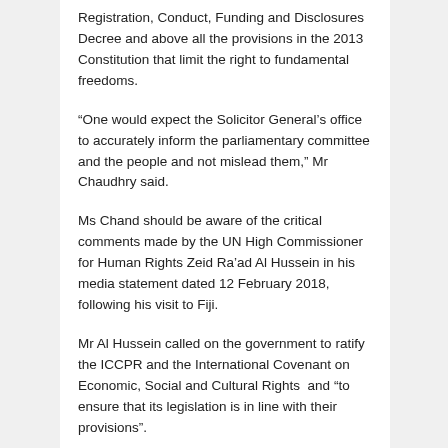Registration, Conduct, Funding and Disclosures Decree and above all the provisions in the 2013 Constitution that limit the right to fundamental freedoms.
“One would expect the Solicitor General’s office to accurately inform the parliamentary committee and the people and not mislead them,” Mr Chaudhry said.
Ms Chand should be aware of the critical comments made by the UN High Commissioner for Human Rights Zeid Ra’ad Al Hussein in his media statement dated 12 February 2018, following his visit to Fiji.
Mr Al Hussein called on the government to ratify the ICCPR and the International Covenant on Economic, Social and Cultural Rights  and “to ensure that its legislation is in line with their provisions”.
Moreover, a working group of the UN Human Rights Council severely criticised the human rights situation in Fiji and recommended that the Constitution and national